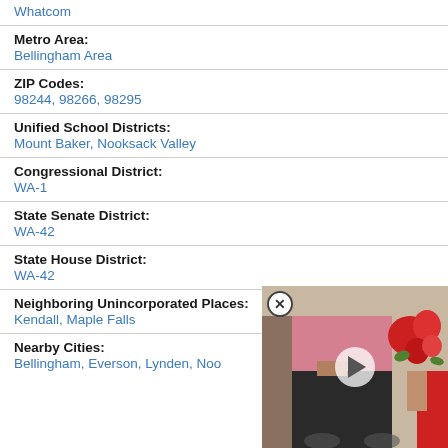Whatcom
Metro Area:
Bellingham Area
ZIP Codes:
98244, 98266, 98295
Unified School Districts:
Mount Baker, Nooksack Valley
Congressional District:
WA-1
State Senate District:
WA-42
State House District:
WA-42
Neighboring Unincorporated Places:
Kendall, Maple Falls
Nearby Cities:
Bellingham, Everson, Lynden, Noo…
[Figure (photo): Video overlay showing elderly person in wheelchair with flowers, with a play button and close button]